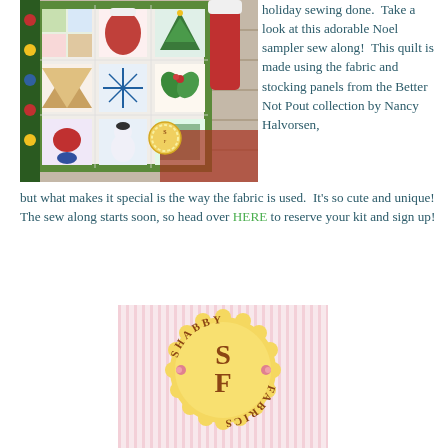[Figure (photo): Christmas holiday quilt (Noel sampler) hung on a wall with a Christmas tree and red stocking visible, green border with patchwork holiday blocks]
holiday sewing done.  Take a look at this adorable Noel sampler sew along!  This quilt is made using the fabric and stocking panels from the Better Not Pout collection by Nancy Halvorsen, but what makes it special is the way the fabric is used.  It's so cute and unique!  The sew along starts soon, so head over HERE to reserve your kit and sign up!
[Figure (logo): Shabby Fabrics logo — gold scalloped circle badge with 'SF' monogram and text 'SHABBY FABRICS' on a pink striped background]